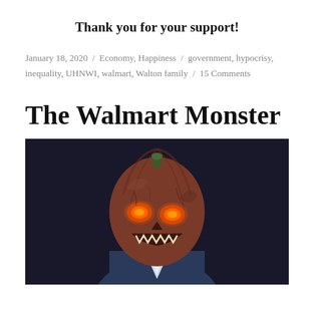Thank you for your support!
January 18, 2020 / Economy, Happiness / government, hypocrisy, inequality, UHNWI, walmart, Walton family / 15 Comments
The Walmart Monster
[Figure (photo): A person in a dark suit wearing a grotesque carved pumpkin Halloween mask with glowing orange eyes, against a dark background.]